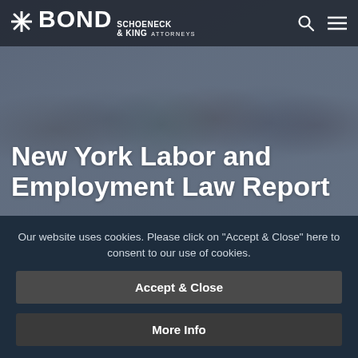[Figure (screenshot): Bond Schoeneck & King attorneys law firm website screenshot showing a hero image with a diverse crowd of workers and professionals in the background, overlaid with a semi-transparent dark header containing the firm logo and navigation icons, and a large white bold title reading 'New York Labor and Employment Law Report'. Below the hero is a dark navy cookie consent banner with two buttons: 'Accept & Close' and 'More Info'.]
BOND SCHOENECK & KING ATTORNEYS
New York Labor and Employment Law Report
Our website uses cookies. Please click on "Accept & Close" here to consent to our use of cookies.
Accept & Close
More Info